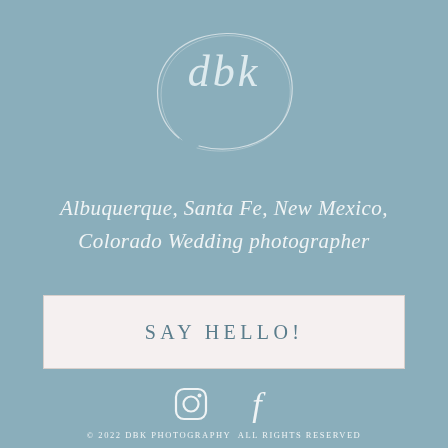[Figure (logo): DBK Photography logo with stylized cursive 'dbk' letters and a circular swirl/arc beneath them, rendered in white/light color on blue-grey background]
Albuquerque, Santa Fe, New Mexico, Colorado Wedding photographer
SAY HELLO!
[Figure (other): Instagram and Facebook social media icons in white outline style]
© 2022 DBK PHOTOGRAPHY  ALL RIGHTS RESERVED